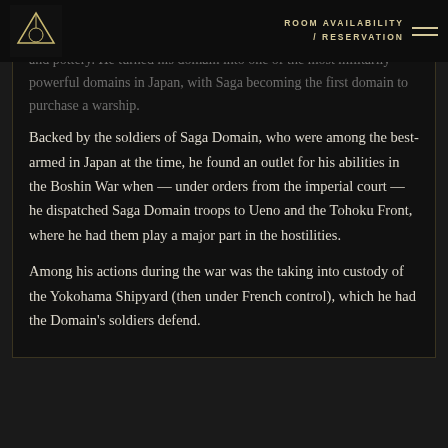ROOM AVAILABILITY / RESERVATION
lands as well as noted products such as seafood from the Lake Sea and pottery. He turned his domain into one of the most militarily powerful domains in Japan, with Saga becoming the first domain to purchase a warship.
Backed by the soldiers of Saga Domain, who were among the best-armed in Japan at the time, he found an outlet for his abilities in the Boshin War when — under orders from the imperial court — he dispatched Saga Domain troops to Ueno and the Tohoku Front, where he had them play a major part in the hostilities.
Among his actions during the war was the taking into custody of the Yokohama Shipyard (then under French control), which he had the Domain's soldiers defend.